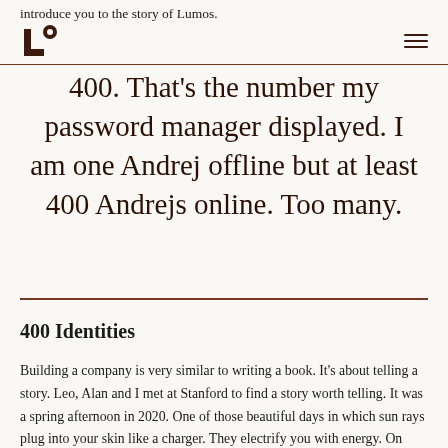introduce you to the story of Lumos.
Lumos logo and navigation
400. That’s the number my password manager displayed. I am one Andrej offline but at least 400 Andrejs online. Too many.
400 Identities
Building a company is very similar to writing a book. It’s about telling a story. Leo, Alan and I met at Stanford to find a story worth telling. It was a spring afternoon in 2020. One of those beautiful days in which sun rays plug into your skin like a charger. They electrify you with energy. On such a day, a light bulb popped up above our heads. Did we just find the start of